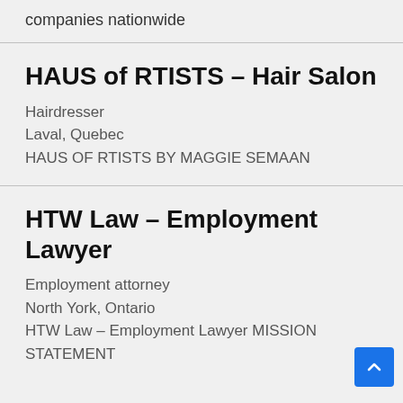companies nationwide
HAUS of RTISTS – Hair Salon
Hairdresser
Laval, Quebec
HAUS OF RTISTS BY MAGGIE SEMAAN
HTW Law – Employment Lawyer
Employment attorney
North York, Ontario
HTW Law – Employment Lawyer MISSION STATEMENT